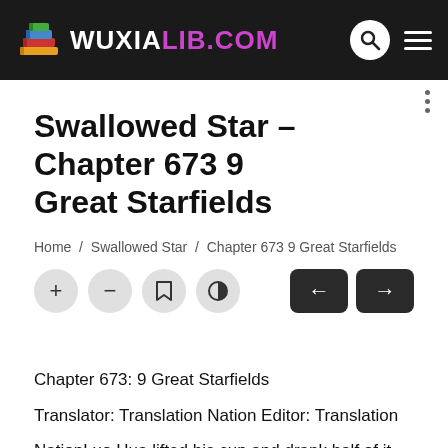WUXIALIB.COM
Swallowed Star – Chapter 673 9 Great Starfields
Home / Swallowed Star / Chapter 673 9 Great Starfields
Chapter 673: 9 Great Starfields
Translator: Translation Nation Editor: Translation Nation
Luo Hua lifted his cup and drank half of it.